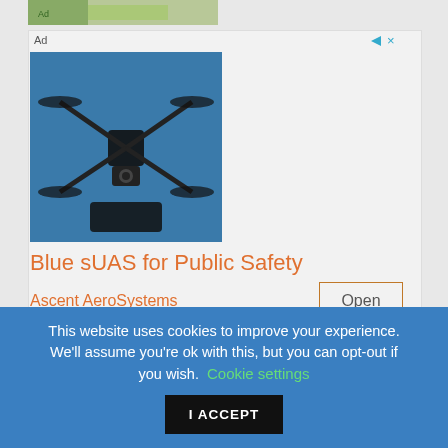[Figure (photo): Top strip showing a partial image of outdoor/garden content]
[Figure (photo): Advertisement image showing a drone (small unmanned aerial system) with multiple rotors against a blue background]
Ad
Blue sUAS for Public Safety
Ascent AeroSystems
Open
[Figure (photo): Photo of an English Cocker Spaniel dog with golden fur]
English Cocker Spaniel Information & Dog Breed Fa...
This website uses cookies to improve your experience. We'll assume you're ok with this, but you can opt-out if you wish.
Cookie settings
I ACCEPT